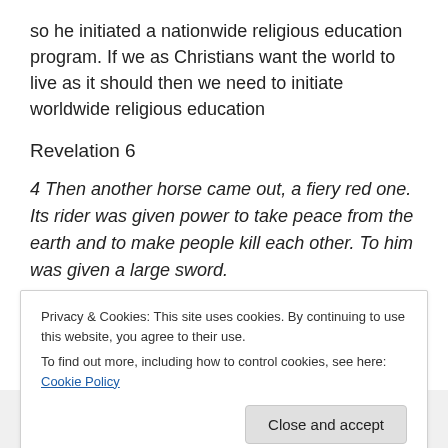so he initiated a nationwide religious education program. If we as Christians want the world to live as it should then we need to initiate worldwide religious education
Revelation 6
4 Then another horse came out, a fiery red one. Its rider was given power to take peace from the earth and to make people kill each other. To him was given a large sword.
[Figure (photo): Partial view of four user avatar circles in a row against a light grey background]
Privacy & Cookies: This site uses cookies. By continuing to use this website, you agree to their use.
To find out more, including how to control cookies, see here: Cookie Policy
Close and accept